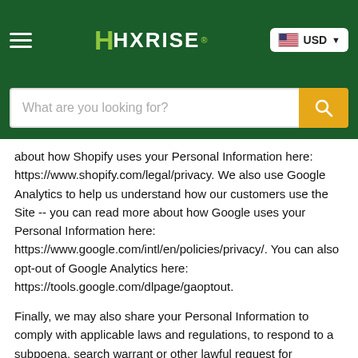HHXRISE USD [header navigation bar]
about how Shopify uses your Personal Information here: https://www.shopify.com/legal/privacy. We also use Google Analytics to help us understand how our customers use the Site -- you can read more about how Google uses your Personal Information here: https://www.google.com/intl/en/policies/privacy/. You can also opt-out of Google Analytics here: https://tools.google.com/dlpage/gaoptout.
Finally, we may also share your Personal Information to comply with applicable laws and regulations, to respond to a subpoena, search warrant or other lawful request for information we receive, or to otherwise protect our rights.
Behavioural advertising